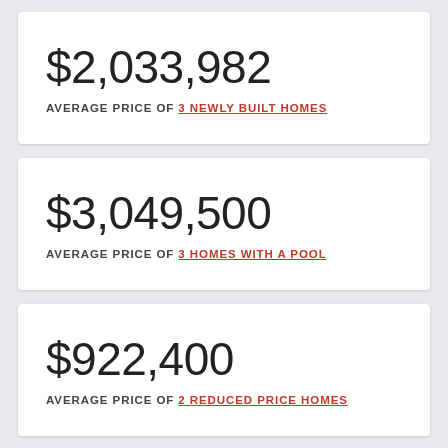$2,033,982
AVERAGE PRICE OF 3 NEWLY BUILT HOMES
$3,049,500
AVERAGE PRICE OF 3 HOMES WITH A POOL
$922,400
AVERAGE PRICE OF 2 REDUCED PRICE HOMES